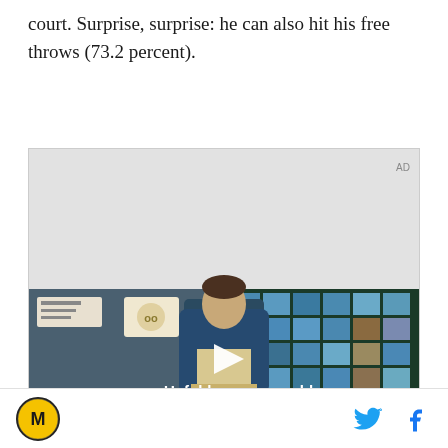court. Surprise, surprise: he can also hit his free throws (73.2 percent).
[Figure (screenshot): Advertisement video player showing a young man in a denim jacket walking in a restaurant/cafeteria setting with blue tiled windows. Text overlay reads 'Unfold your world' with a play button. AD label in top right corner.]
[Figure (logo): Circular logo with M letter, golden/yellow background with dark border - site logo]
[Figure (other): Twitter bird icon in blue and Facebook f icon in blue - social sharing buttons]